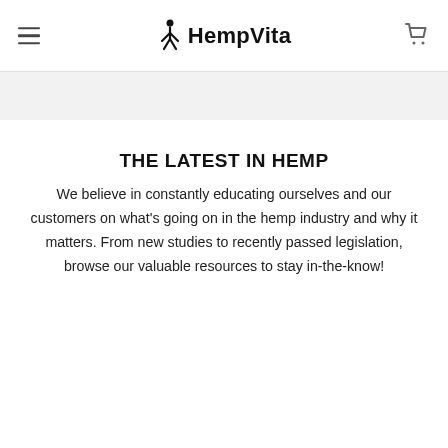HempVita
THE LATEST IN HEMP
We believe in constantly educating ourselves and our customers on what's going on in the hemp industry and why it matters. From new studies to recently passed legislation, browse our valuable resources to stay in-the-know!